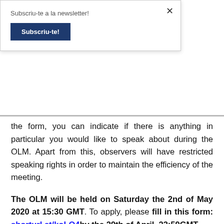Subscriu-te a la newsletter!
Subscriu-te!
the form, you can indicate if there is anything in particular you would like to speak about during the OLM. Apart from this, observers will have restricted speaking rights in order to maintain the efficiency of the meeting.
The OLM will be held on Saturday the 2nd of May 2020 at 15:30 GMT. To apply, please fill in this form: shorturl.at/koLO4by the 29th of April, 23:59GMT.
If you have any inquiry do not hesitate to reach out at scorpd@ifmsa.org!